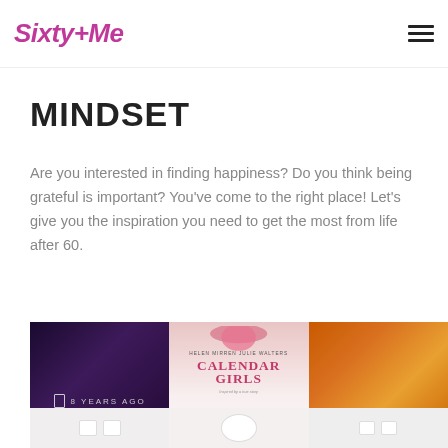Sixty+Me
MINDSET
Are you interested in finding happiness? Do you think being grateful is important? You've come to the right place! Let's give you the inspiration you need to get the most from life after 60.
[Figure (photo): Three image panels at the bottom: left panel shows dark purple/black background with '8 YEARS AGO' text overlay and a door icon; middle panel shows Calendar Girls movie poster with Helen Mirren and Julie Walters; right panel shows warm orange/brown gradient background. Below each panel is a lighter strip with white rectangular thumbnail elements.]